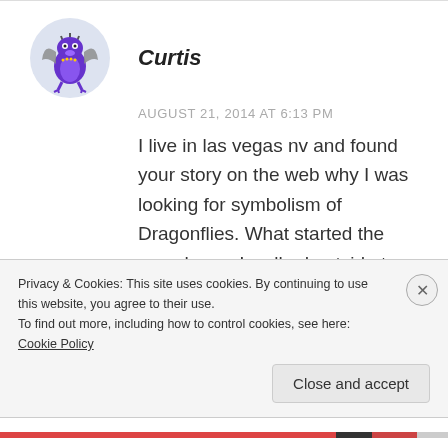[Figure (illustration): Avatar of user Curtis — a cartoon purple dragon/monster with bat wings, wearing a crown, on a light blue circular background]
Curtis
AUGUST 21, 2014 AT 6:13 PM
I live in las vegas nv and found your story on the web why I was looking for symbolism of Dragonflies. What started the search was I walked outside to have a smoke and there on my mermaid statue was a dragonfly
Privacy & Cookies: This site uses cookies. By continuing to use this website, you agree to their use.
To find out more, including how to control cookies, see here: Cookie Policy
Close and accept